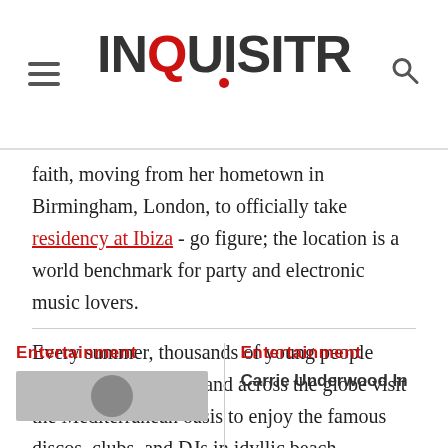INQUISITR
faith, moving from her hometown in Birmingham, London, to officially take residency at Ibiza - go figure; the location is a world benchmark for party and electronic music lovers.
Every summer, thousands of young people from all over Europe and across the globe visit the Mediterranean oasis to enjoy the famous discos, clubs, and DJs in idyllic beach surroundings.
Entertainment
[Figure (photo): Thumbnail image partially visible at bottom left]
Entertainment
Carrie Underwood In